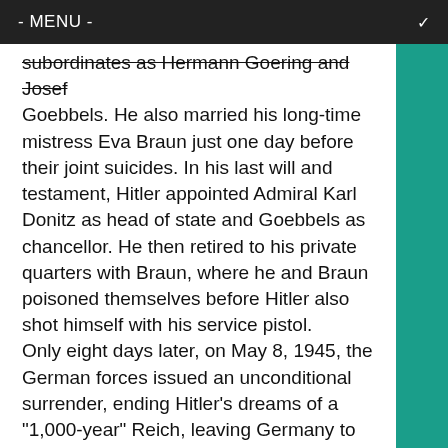- MENU -
subordinates as Hermann Goering and Josef Goebbels. He also married his long-time mistress Eva Braun just one day before their joint suicides. In his last will and testament, Hitler appointed Admiral Karl Donitz as head of state and Goebbels as chancellor. He then retired to his private quarters with Braun, where he and Braun poisoned themselves before Hitler also shot himself with his service pistol.
Only eight days later, on May 8, 1945, the German forces issued an unconditional surrender, ending Hitler’s dreams of a “1,000-year” Reich, leaving Germany to be carved up by the four Allied powers.
April 30, 1973: President Richard Nixon announced the “resignations” of White House Chief